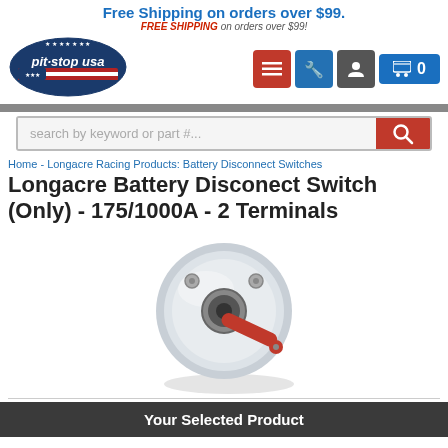Free Shipping on orders over $99.
FREE SHIPPING on orders over $99!
[Figure (logo): Pit Stop USA logo with American flag motif and text 'pit-stop usa']
[Figure (screenshot): Navigation icons: red menu button, blue wrench button, dark user button, and blue cart button showing 0]
[Figure (screenshot): Search bar with placeholder 'search by keyword or part #...' and red search button]
Home - Longacre Racing Products: Battery Disconnect Switches
Longacre Battery Disconect Switch (Only) - 175/1000A - 2 Terminals
[Figure (photo): Battery disconnect switch with silver circular body and red key/lever, Longacre brand]
Your Selected Product